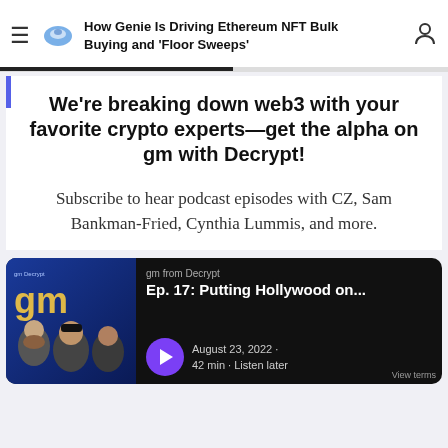How Genie Is Driving Ethereum NFT Bulk Buying and 'Floor Sweeps'
We're breaking down web3 with your favorite crypto experts—get the alpha on gm with Decrypt!
Subscribe to hear podcast episodes with CZ, Sam Bankman-Fried, Cynthia Lummis, and more.
[Figure (screenshot): Podcast card for 'gm from Decrypt — Ep. 17: Putting Hollywood on...' dated August 23, 2022 · 42 min · Listen later, with a purple play button and thumbnail showing the podcast hosts.]